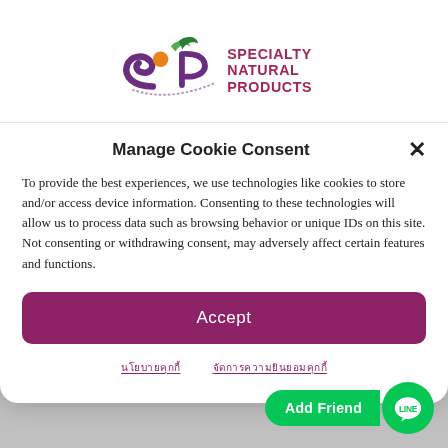[Figure (logo): Specialty Natural Products logo with stylized SNP letters in purple, an orange circle, and green leaves, with the text SPECIALTY NATURAL PRODUCTS in red/maroon to the right]
Manage Cookie Consent
To provide the best experiences, we use technologies like cookies to store and/or access device information. Consenting to these technologies will allow us to process data such as browsing behavior or unique IDs on this site. Not consenting or withdrawing consent, may adversely affect certain features and functions.
Accept
Cookie Policy  Manage Cookie Consent
inflammatory
[Figure (illustration): Green LINE app Add Friend button with LINE logo icon]